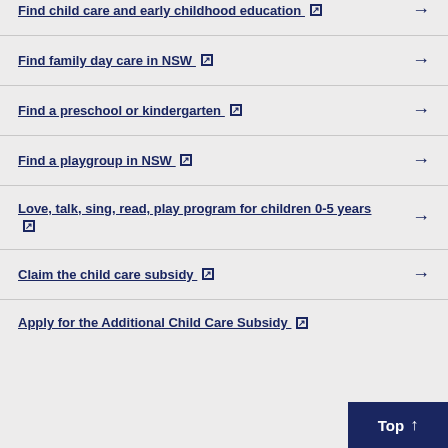Find child care and early childhood education ↗
Find family day care in NSW ↗
Find a preschool or kindergarten ↗
Find a playgroup in NSW ↗
Love, talk, sing, read, play program for children 0-5 years ↗
Claim the child care subsidy ↗
Apply for the Additional Child Care Subsidy ↗